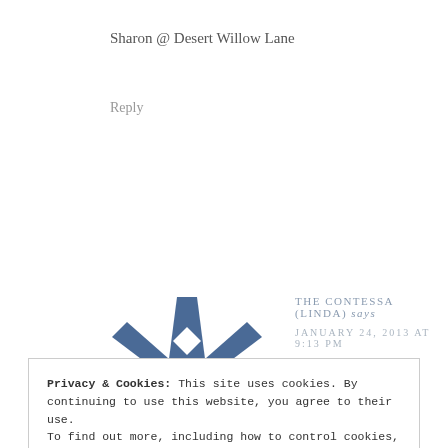Sharon @ Desert Willow Lane
Reply
[Figure (logo): Blue geometric snowflake/star quilt pattern logo for The Contessa (Linda)]
THE CONTESSA (LINDA) says
JANUARY 24, 2013 AT 9:13 PM
Privacy & Cookies: This site uses cookies. By continuing to use this website, you agree to their use.
To find out more, including how to control cookies, see here:
Cookie Policy
Close and accept